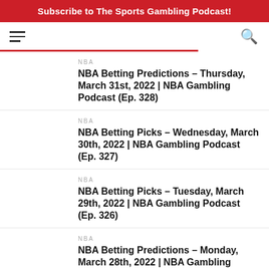Subscribe to The Sports Gambling Podcast!
NBA
NBA Betting Predictions – Thursday, March 31st, 2022 | NBA Gambling Podcast (Ep. 328)
NBA
NBA Betting Picks – Wednesday, March 30th, 2022 | NBA Gambling Podcast (Ep. 327)
NBA
NBA Betting Picks – Tuesday, March 29th, 2022 | NBA Gambling Podcast (Ep. 326)
NBA
NBA Betting Predictions – Monday, March 28th, 2022 | NBA Gambling Podcast (Ep.